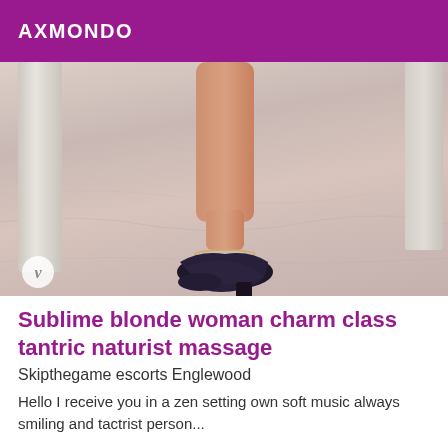AXMONDO
[Figure (photo): Close-up photo of a person's legs wearing sparkly dark high-heeled mule shoes on a marble floor, with a white pillar visible to the left and a Vimeo watermark badge in the bottom left corner.]
Sublime blonde woman charm class tantric naturist massage
Skipthegame escorts Englewood
Hello I receive you in a zen setting own soft music always smiling and tactrist person...